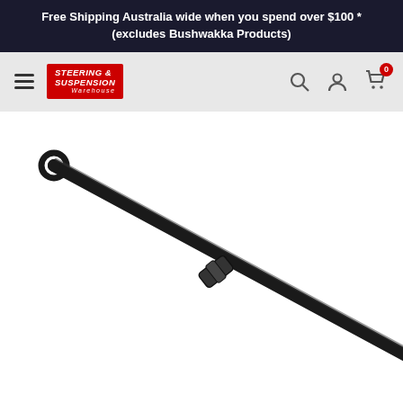Free Shipping Australia wide when you spend over $100 *(excludes Bushwakka Products)
[Figure (screenshot): Navigation bar with hamburger menu, Steering & Suspension Warehouse logo in red, and search/account/cart icons on the right. Cart shows badge with 0.]
[Figure (photo): Black metal steering or suspension rod/bar shown diagonally from upper-left to lower-right on white background. Has an eye-ring end cap at the top-left end and a clamp/coupler fitting in the middle.]